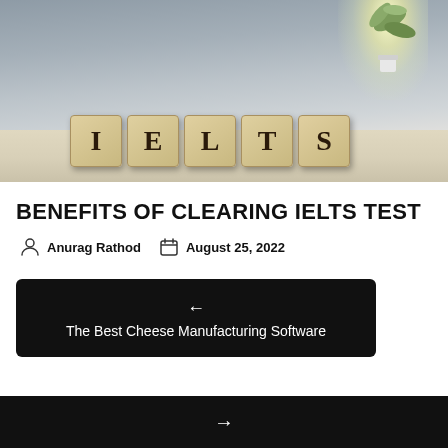[Figure (photo): Photo of wooden blocks spelling out IELTS on a table with a plant in the background]
BENEFITS OF CLEARING IELTS TEST
Anurag Rathod   August 25, 2022
← The Best Cheese Manufacturing Software
→